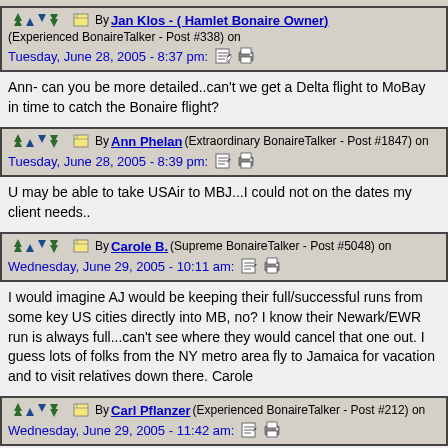By Jan Klos - ( Hamlet Bonaire Owner) (Experienced BonaireTalker - Post #338) on Tuesday, June 28, 2005 - 8:37 pm:
Ann- can you be more detailed..can't we get a Delta flight to MoBay in time to catch the Bonaire flight?
By Ann Phelan (Extraordinary BonaireTalker - Post #1847) on Tuesday, June 28, 2005 - 8:39 pm:
U may be able to take USAir to MBJ...I could not on the dates my client needs..
By Carole B. (Supreme BonaireTalker - Post #5048) on Wednesday, June 29, 2005 - 10:11 am:
I would imagine AJ would be keeping their full/successful runs from some key US cities directly into MB, no? I know their Newark/EWR run is always full...can't see where they would cancel that one out. I guess lots of folks from the NY metro area fly to Jamaica for vacation and to visit relatives down there. Carole
By Carl Pflanzer (Experienced BonaireTalker - Post #212) on Wednesday, June 29, 2005 - 11:42 am:
Another note - this is Saturday service - so you really are committed for